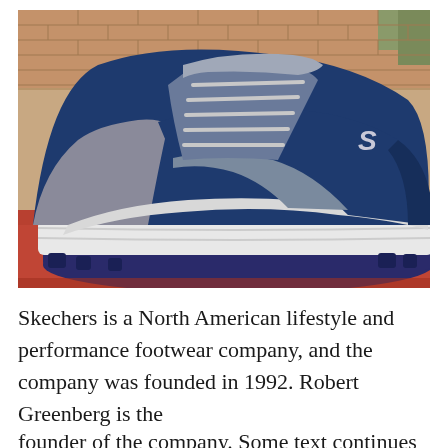[Figure (photo): A navy blue and silver/grey Skechers sneaker with chunky sole, placed on brick steps. The shoe features the Skechers 'S' logo on the side, grey mesh upper, and thick white midsole.]
Skechers is a North American lifestyle and performance footwear company, and the company was founded in 1992. Robert Greenberg is the founder of the company. Some text continues below...